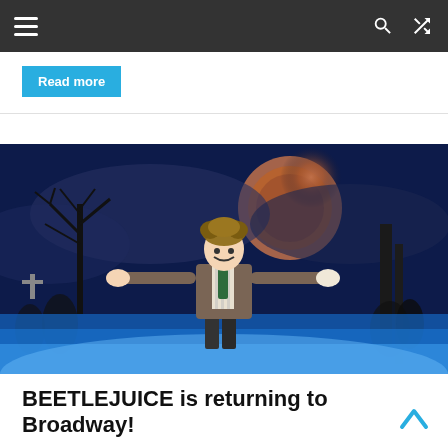Navigation bar with menu, search, and shuffle icons
Read more
[Figure (photo): A performer in a theatrical production of Beetlejuice stands center stage with arms outstretched, wearing a striped suit jacket. The background features a dark, moody graveyard scene with a large reddish moon, bare trees, and shadowy figures in blue-toned lighting.]
BEETLEJUICE is returning to Broadway!